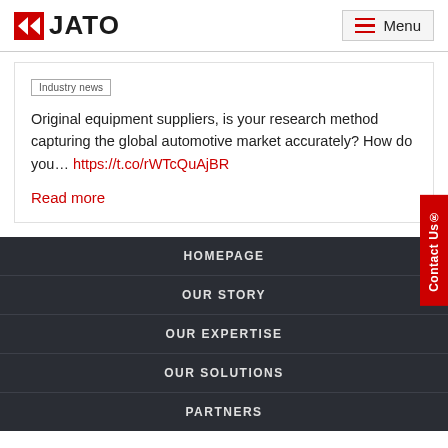JATO | Menu
Industry news
Original equipment suppliers, is your research method capturing the global automotive market accurately? How do you… https://t.co/rWTcQuAjBR
Read more
HOMEPAGE
OUR STORY
OUR EXPERTISE
OUR SOLUTIONS
PARTNERS